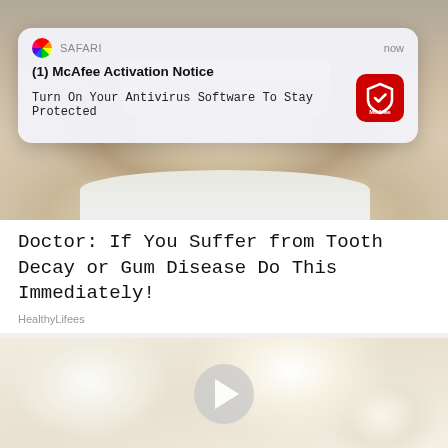[Figure (screenshot): Smartphone screenshot showing a fake McAfee Safari browser notification popup over a webpage. The notification reads '(1) McAfee Activation Notice - Turn On Your Antivirus Software To Stay Protected' with a McAfee red icon. Below is an article with a photo of a man smiling showing teeth, titled 'Doctor: If You Suffer from Tooth Decay or Gum Disease Do This Immediately!' from HealthyLifees, and a second thumbnail image of a white sugary substance with a video play button.]